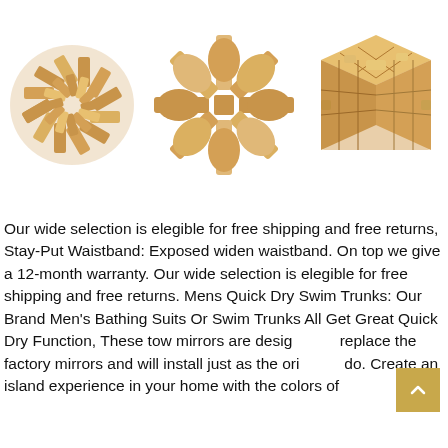[Figure (photo): Three wooden interlocking puzzle pieces displayed side by side: a spherical ball puzzle on the left, a star/flower-shaped puzzle in the center, and a cube-shaped puzzle on the right. All are light natural wood colored.]
Our wide selection is elegible for free shipping and free returns, Stay-Put Waistband: Exposed widen waistband. On top we give a 12-month warranty. Our wide selection is elegible for free shipping and free returns. Mens Quick Dry Swim Trunks: Our Brand Men's Bathing Suits Or Swim Trunks All Get Great Quick Dry Function, These tow mirrors are designed to replace the factory mirrors and will install just as the originals do. Create an island experience in your home with the colors of